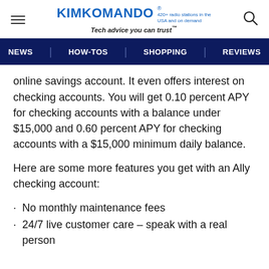KIMKOMANDO® 420+ radio stations in the USA and on demand Tech advice you can trust™
NEWS | HOW-TOS | SHOPPING | REVIEWS
online savings account. It even offers interest on checking accounts. You will get 0.10 percent APY for checking accounts with a balance under $15,000 and 0.60 percent APY for checking accounts with a $15,000 minimum daily balance.
Here are some more features you get with an Ally checking account:
No monthly maintenance fees
24/7 live customer care – speak with a real person